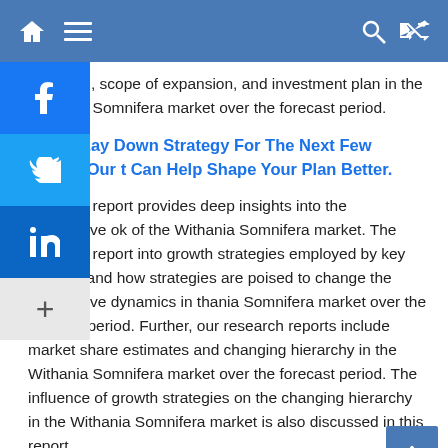modeling, scope of expansion, and investment plan in the Withania Somnifera market over the forecast period.
ing To Lay Down Strategy For The Next Few Years? Our t Can Help Shape Your Plan Better.
research report provides deep insights into the competitive ok of the Withania Somnifera market. The research report into growth strategies employed by key players, and how strategies are poised to change the competitive dynamics in thania Somnifera market over the forecast period. Further, our research reports include market share estimates and changing hierarchy in the Withania Somnifera market over the forecast period. The influence of growth strategies on the changing hierarchy in the Withania Somnifera market is also discussed in this report.